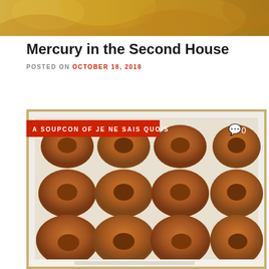[Figure (photo): Top portion of a blog header image showing yellow/golden tones, appears to be part of a vintage or illustrated image]
Mercury in the Second House
POSTED ON OCTOBER 18, 2018
[Figure (photo): A box of 12 glazed donuts (Krispy Kreme style) arranged in a 4x3 grid in a white cardboard box, photographed from above on a tan/beige carpet background. Overlay text reads 'A SOUPCON OF JE NE SAIS QUOIS' on a red banner, and a comment icon with '0' in the top right.]